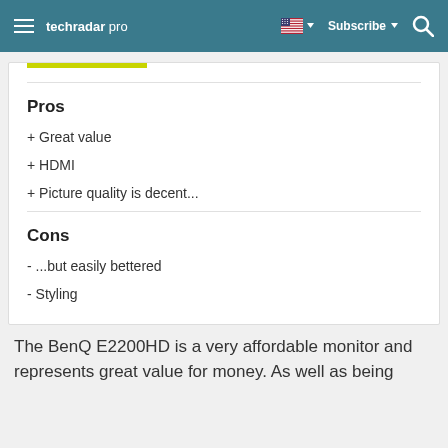techradar pro — Subscribe
Pros
+ Great value
+ HDMI
+ Picture quality is decent...
Cons
- ...but easily bettered
- Styling
The BenQ E2200HD is a very affordable monitor and represents great value for money. As well as being